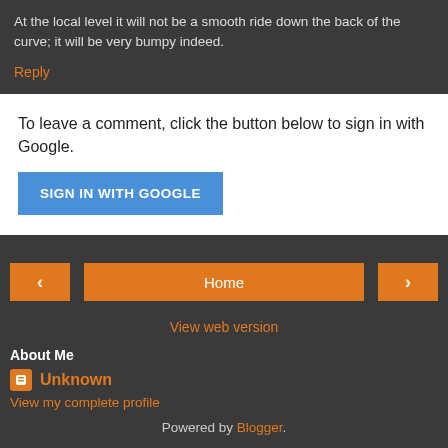At the local level it will not be a smooth ride down the back of the curve; it will be very bumpy indeed.
Reply
To leave a comment, click the button below to sign in with Google.
SIGN IN WITH GOOGLE
Home
View web version
About Me
Unknown
View my complete profile
Powered by Blogger.